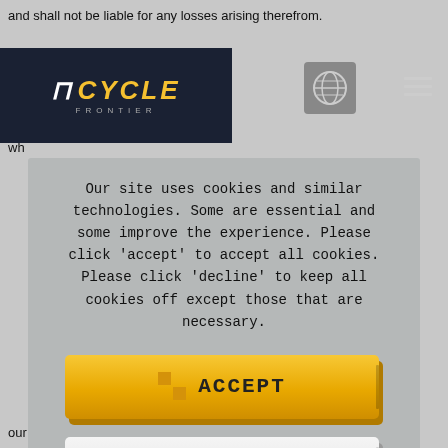and shall not be liable for any losses arising therefrom.
[Figure (logo): The Cycle Frontier game logo on dark navy background]
or any losses in [globe icon] by users wh
Our site uses cookies and similar technologies. Some are essential and some improve the experience. Please click 'accept' to accept all cookies. Please click 'decline' to keep all cookies off except those that are necessary.
[Figure (other): ACCEPT button - yellow/gold 3D-style button with pixel icon]
[Figure (other): DECLINE button - white/grey 3D-style button with pixel icon]
Configure
our intentional or negligent behavior.